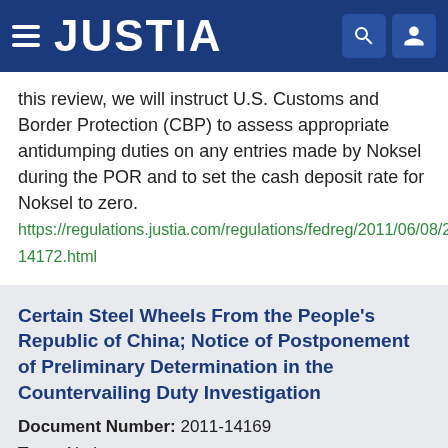JUSTIA
this review, we will instruct U.S. Customs and Border Protection (CBP) to assess appropriate antidumping duties on any entries made by Noksel during the POR and to set the cash deposit rate for Noksel to zero. https://regulations.justia.com/regulations/fedreg/2011/06/08/2011-14172.html
Certain Steel Wheels From the People's Republic of China; Notice of Postponement of Preliminary Determination in the Countervailing Duty Investigation
Document Number: 2011-14169
Type: Notice
Date: 2011-06-08
Agency: Department of Commerce, International Trade Administration